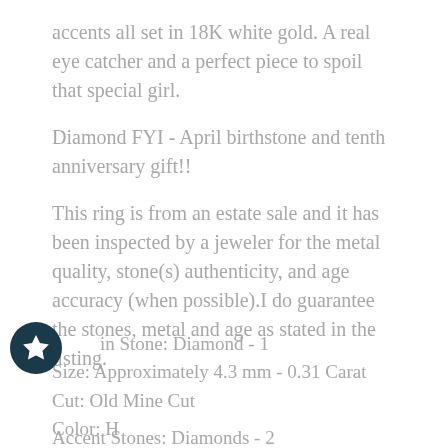accents all set in 18K white gold. A real eye catcher and a perfect piece to spoil that special girl.
Diamond FYI - April birthstone and tenth anniversary gift!!
This ring is from an estate sale and it has been inspected by a jeweler for the metal quality, stone(s) authenticity, and age accuracy (when possible).I do guarantee the stones, metal and age as stated in the listing.
Main Stone: Diamond - 1
Size: Approximately 4.3 mm - 0.31 Carat
Cut: Old Mine Cut
Color: H
Clarity: I-1
Accent Stones: Diamonds - 2
Size: Approximately 1.7 mm - 0.02 Carat each
Cut: Single